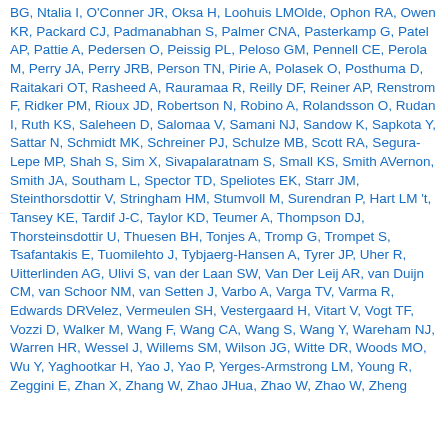BG, Ntalia I, O'Conner JR, Oksa H, Loohuis LMOlde, Ophon RA, Owen KR, Packard CJ, Padmanabhan S, Palmer CNA, Pasterkamp G, Patel AP, Pattie A, Pedersen O, Peissig PL, Peloso GM, Pennell CE, Perola M, Perry JA, Perry JRB, Person TN, Pirie A, Polasek O, Posthuma D, Raitakari OT, Rasheed A, Rauramaa R, Reilly DF, Reiner AP, Renstrom F, Ridker PM, Rioux JD, Robertson N, Robino A, Rolandsson O, Rudan I, Ruth KS, Saleheen D, Salomaa V, Samani NJ, Sandow K, Sapkota Y, Sattar N, Schmidt MK, Schreiner PJ, Schulze MB, Scott RA, Segura-Lepe MP, Shah S, Sim X, Sivapalaratnam S, Small KS, Smith AVernon, Smith JA, Southam L, Spector TD, Speliotes EK, Starr JM, Steinthorsdottir V, Stringham HM, Stumvoll M, Surendran P, Hart LM 't, Tansey KE, Tardif J-C, Taylor KD, Teumer A, Thompson DJ, Thorsteinsdottir U, Thuesen BH, Tonjes A, Tromp G, Trompet S, Tsafantakis E, Tuomilehto J, Tybjaerg-Hansen A, Tyrer JP, Uher R, Uitterlinden AG, Ulivi S, van der Laan SW, Van Der Leij AR, van Duijn CM, van Schoor NM, van Setten J, Varbo A, Varga TV, Varma R, Edwards DRVelez, Vermeulen SH, Vestergaard H, Vitart V, Vogt TF, Vozzi D, Walker M, Wang F, Wang CA, Wang S, Wang Y, Wareham NJ, Warren HR, Wessel J, Willems SM, Wilson JG, Witte DR, Woods MO, Wu Y, Yaghootkar H, Yao J, Yao P, Yerges-Armstrong LM, Young R, Zeggini E, Zhan X, Zhang W, Zhao JHua, Zhao W, Zhao W, Zheng